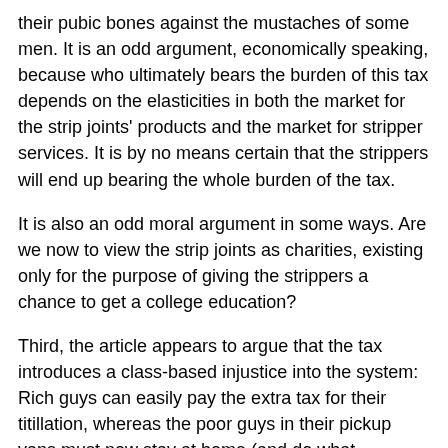their pubic bones against the mustaches of some men. It is an odd argument, economically speaking, because who ultimately bears the burden of this tax depends on the elasticities in both the market for the strip joints' products and the market for stripper services. It is by no means certain that the strippers will end up bearing the whole burden of the tax.
It is also an odd moral argument in some ways. Are we now to view the strip joints as charities, existing only for the purpose of giving the strippers a chance to get a college education?
Third, the article appears to argue that the tax introduces a class-based injustice into the system: Rich guys can easily pay the extra tax for their titillation, whereas the poor guys in their pickup vans must now stay at home (and do what instead?). Are we really supposed to be concerned with this particular aspect of the class war? That all men should have equal access to lap dances?
Fourth, note that the architect interviewed in the story